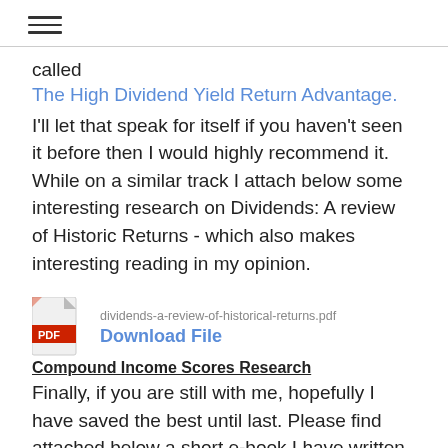☰
called
The High Dividend Yield Return Advantage.
I'll let that speak for itself if you haven't seen it before then I would highly recommend it. While on a similar track I attach below some interesting research on Dividends: A review of Historic Returns - which also makes interesting reading in my opinion.
[Figure (other): PDF file icon with download link. Filename: dividends-a-review-of-historical-returns.pdf. Link text: Download File]
Compound Income Scores Research
Finally, if you are still with me, hopefully I have saved the best until last. Please find attached below a short e-book I have written explaining the background to and the research underpinning the Compound Income Scores, enjoy and have a great weekend.